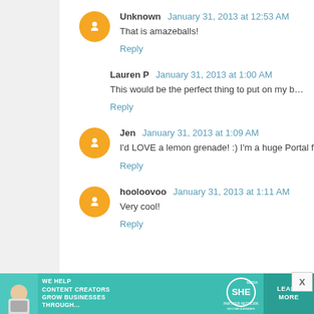Unknown January 31, 2013 at 12:53 AM
That is amazeballs!
Reply
Lauren P January 31, 2013 at 1:00 AM
This would be the perfect thing to put on my bookshelf next
Reply
Jen January 31, 2013 at 1:09 AM
I'd LOVE a lemon grenade! :) I'm a huge Portal fan! :) Than
Reply
hooloovoo January 31, 2013 at 1:11 AM
Very cool!
Reply
[Figure (infographic): SHE Partner Network advertisement banner: teal background, photo of woman with laptop, text WE HELP CONTENT CREATORS GROW BUSINESSES THROUGH..., SHE logo, LEARN MORE button]